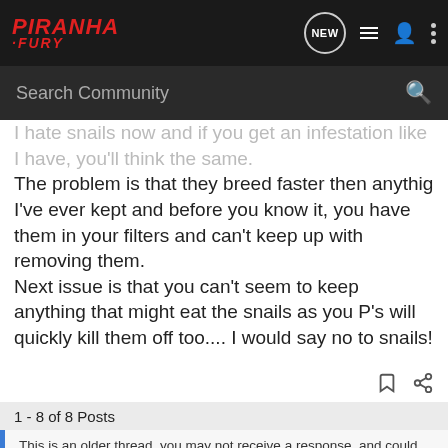PIRANHA FURY
I hate snails now and if you get an infestation like I have, you'll think the same.
The problem is that they breed faster then anythig I've ever kept and before you know it, you have them in your filters and can't keep up with removing them.
Next issue is that you can't seem to keep anything that might eat the snails as you P's will quickly kill them off too.... I would say no to snails!
1 - 8 of 8 Posts
This is an older thread, you may not receive a response, and could be reviving an old thread. Please consider creating a new thread.